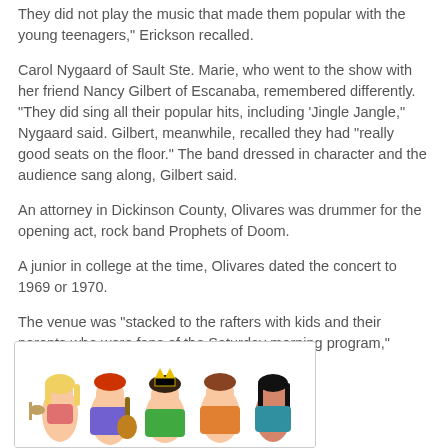They did not play the music that made them popular with the young teenagers," Erickson recalled.
Carol Nygaard of Sault Ste. Marie, who went to the show with her friend Nancy Gilbert of Escanaba, remembered differently. "They did sing all their popular hits, including 'Jingle Jangle," Nygaard said. Gilbert, meanwhile, recalled they had "really good seats on the floor." The band dressed in character and the audience sang along, Gilbert said.
An attorney in Dickinson County, Olivares was drummer for the opening act, rock band Prophets of Doom.
A junior in college at the time, Olivares dated the concert to 1969 or 1970.
The venue was "stacked to the rafters with kids and their parents who were fans of the Saturday morning program," Olivares recalled.
[Figure (illustration): Cartoon illustration of the Archie band characters in colorful outfits, playing instruments, with multiple characters visible from the waist up.]